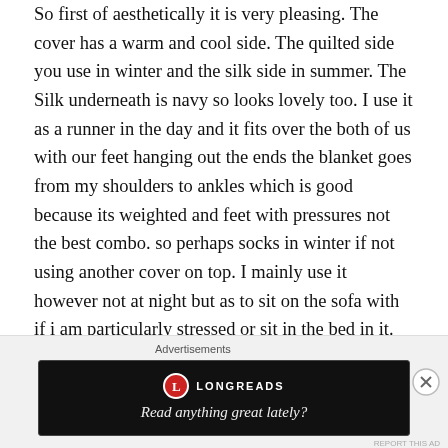So first of aesthetically it is very pleasing. The cover has a warm and cool side. The quilted side you use in winter and the silk side in summer. The Silk underneath is navy so looks lovely too. I use it as a runner in the day and it fits over the both of us with our feet hanging out the ends the blanket goes from my shoulders to ankles which is good because its weighted and feet with pressures not the best combo. so perhaps socks in winter if not using another cover on top. I mainly use it however not at night but as to sit on the sofa with if i am particularly stressed or sit in the bed in it. The quilt is heavy so it really is weighted i was surprised when the post man dropped it off. I got the largest and most weighted due to my weight.

Does it relax you? It feels like a cuddle and like some pressure. Considering i hate cuddles it is quite nice to be able to have that tight compression feeling without the emotions and people.
[Figure (other): Longreads advertisement banner on dark background with logo and tagline 'Read anything great lately?']